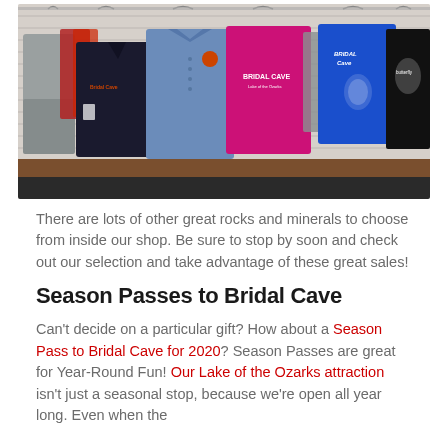[Figure (photo): Photo of a retail shop displaying various branded t-shirts and button-down shirts hanging on a rack. Shirts include gray, black, red, denim blue, pink (with Bridal Cave logo), blue, and black designs on a white slatwall background with a wood-trim floor.]
There are lots of other great rocks and minerals to choose from inside our shop. Be sure to stop by soon and check out our selection and take advantage of these great sales!
Season Passes to Bridal Cave
Can't decide on a particular gift? How about a Season Pass to Bridal Cave for 2020? Season Passes are great for Year-Round Fun! Our Lake of the Ozarks attraction isn't just a seasonal stop, because we're open all year long. Even when the